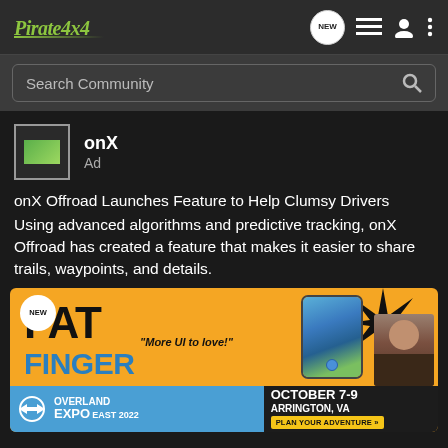Pirate4x4
Search Community
onX
Ad
onX Offroad Launches Feature to Help Clumsy Drivers
Using advanced algorithms and predictive tracking, onX Offroad has created a feature that makes it easier to share trails, waypoints, and details.
[Figure (infographic): Orange banner ad for onX Offroad FAT FINGER feature with NEW badge, phone mockup, starburst graphic, person photo, and Overland Expo East 2022 sub-banner (October 7-9, Arrington, VA)]